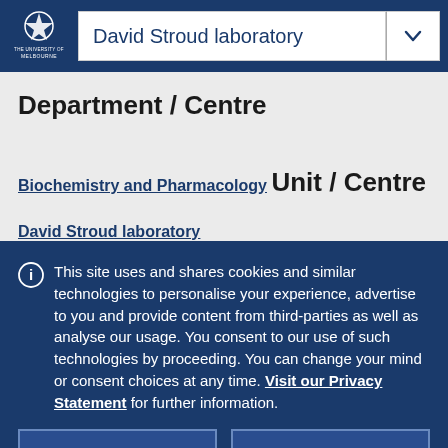David Stroud laboratory
Department / Centre
Biochemistry and Pharmacology
Unit / Centre
David Stroud laboratory
This site uses and shares cookies and similar technologies to personalise your experience, advertise to you and provide content from third-parties as well as analyse our usage. You consent to our use of such technologies by proceeding. You can change your mind or consent choices at any time. Visit our Privacy Statement for further information.
Accept cookies
Cookie Preferences